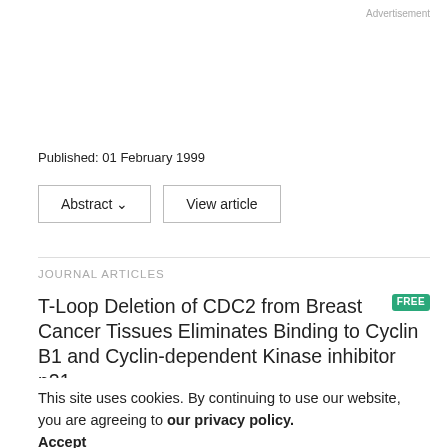Advertisement
Published: 01 February 1999
Abstract ∨   View article
JOURNAL ARTICLES
T-Loop Deletion of CDC2 from Breast Cancer Tissues Eliminates Binding to Cyclin B1 and Cyclin-dependent Kinase Inhibitor p21
This site uses cookies. By continuing to use our website, you are agreeing to our privacy policy.
Accept
Susuhiko Ohta, Kazuhi Okamoba, Huminokie Hashish, Kiyoiske Shibata,
Cancer Research
Cancer Res (1998) 58 (6): 1095–1098.